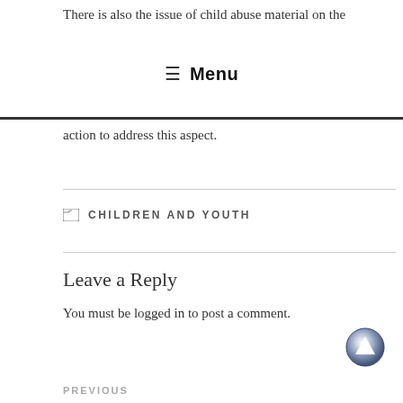There is also the issue of child abuse material on the
≡ Menu
action to address this aspect.
CHILDREN AND YOUTH
Leave a Reply
You must be logged in to post a comment.
PREVIOUS